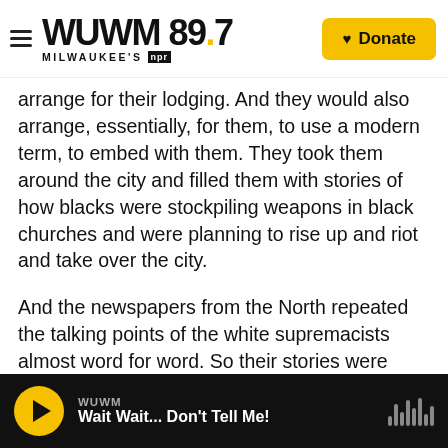WUWM 89.7 Milwaukee's NPR — Donate
arrange for their lodging. And they would also arrange, essentially, for them, to use a modern term, to embed with them. They took them around the city and filled them with stories of how blacks were stockpiling weapons in black churches and were planning to rise up and riot and take over the city.
And the newspapers from the North repeated the talking points of the white supremacists almost word for word. So their stories were extremely slanted and even swallowed the white supremacy narrative that blacks were incapable of voting, that
WUWM — Wait Wait... Don't Tell Me!